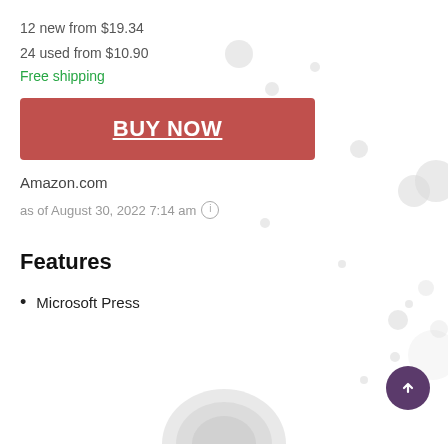12 new from $19.34
24 used from $10.90
Free shipping
[Figure (other): Red BUY NOW button]
Amazon.com
as of August 30, 2022 7:14 am ⓘ
Features
Microsoft Press
[Figure (other): Partial circular decorative/product image at bottom of page]
[Figure (other): Purple back-to-top circular button at bottom right]